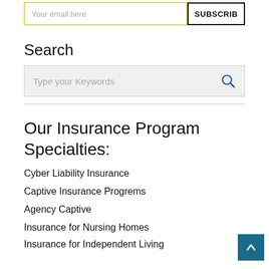[Figure (screenshot): Email subscription bar with 'Your email here' input and 'SUBSCRIBE' button]
Search
[Figure (screenshot): Search input box with placeholder 'Type your Keywords' and a blue search icon]
Our Insurance Program Specialties:
Cyber Liability Insurance
Captive Insurance Progrems
Agency Captive
Insurance for Nursing Homes
Insurance for Independent Living